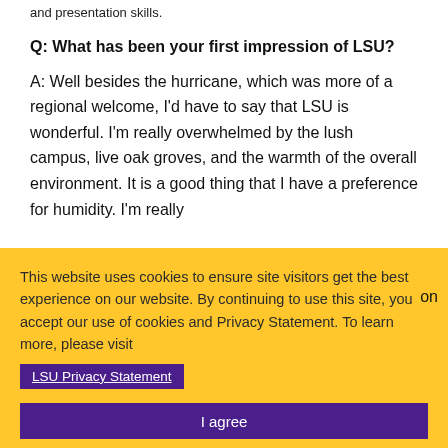and presentation skills.
Q: What has been your first impression of LSU?
A: Well besides the hurricane, which was more of a regional welcome, I'd have to say that LSU is wonderful. I'm really overwhelmed by the lush campus, live oak groves, and the warmth of the overall environment. It is a good thing that I have a preference for humidity. I'm really
This website uses cookies to ensure site visitors get the best experience on our website. By continuing to use this site, you accept our use of cookies and Privacy Statement. To learn more, please visit LSU Privacy Statement.
I agree
stal
Selected for
Sustainability